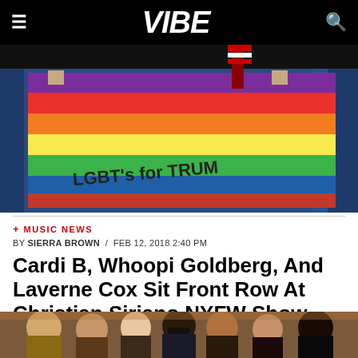VIBE
[Figure (photo): A rainbow pride flag with 'LGBT's for TRUMP' written on it, being held up in front of blue curtains and a partial US flag]
+ MUSIC NEWS
BY SIERRA BROWN / FEB 12, 2018 2:40 PM
Cardi B, Whoopi Goldberg, And Laverne Cox Sit Front Row At Christian Siriano NYFW Show
[Figure (photo): Group of people including celebrities sitting front row at a fashion show]